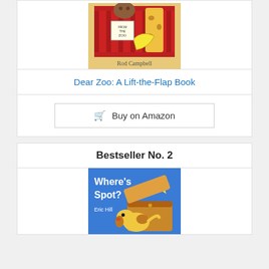[Figure (illustration): Book cover of 'Dear Zoo: A Lift-the-Flap Book' by Rod Campbell, showing red crate with zoo animals peeking out and a banana, with author name at bottom]
Dear Zoo: A Lift-the-Flap Book
Buy on Amazon
Bestseller No. 2
[Figure (illustration): Book cover of 'Where's Spot?' by Eric Hill, showing a yellow dog peeking into a wooden chest on a blue background, with a yellow star badge reading 'a lift-the-flap book']